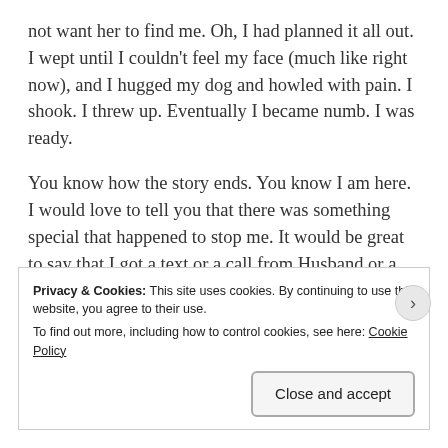not want her to find me. Oh, I had planned it all out.  I wept until I couldn't feel my face (much like right now), and I hugged my dog and howled with pain. I shook. I threw up. Eventually I became numb. I was ready.
You know how the story ends. You know I am here. I would love to tell you that there was something special that happened to stop me. It would be great to say that I got a text or a call from Husband or a friend saying they loved me or they were thinking of me or something. The truth is, I don't know what happened.  I just decided right then that I could not die. If you're a person who believes in
Privacy & Cookies: This site uses cookies. By continuing to use this website, you agree to their use.
To find out more, including how to control cookies, see here: Cookie Policy